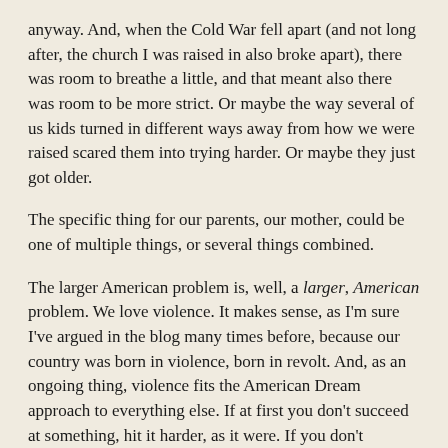anyway. And, when the Cold War fell apart (and not long after, the church I was raised in also broke apart), there was room to breathe a little, and that meant also there was room to be more strict. Or maybe the way several of us kids turned in different ways away from how we were raised scared them into trying harder. Or maybe they just got older.
The specific thing for our parents, our mother, could be one of multiple things, or several things combined.
The larger American problem is, well, a larger, American problem. We love violence. It makes sense, as I'm sure I've argued in the blog many times before, because our country was born in violence, born in revolt. And, as an ongoing thing, violence fits the American Dream approach to everything else. If at first you don't succeed at something, hit it harder, as it were. If you don't succeed, it's because you didn't hit it hard enough. We built our cinematic Western mythology (and our American myth) on rugged individualism and good men fighting off bad men to protect what is theirs.
And, it isn't law bad order that we love, either. It is might